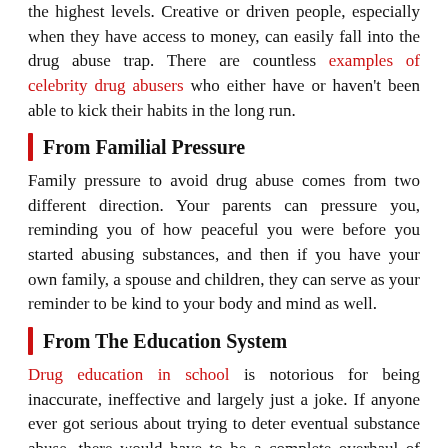the highest levels. Creative or driven people, especially when they have access to money, can easily fall into the drug abuse trap. There are countless examples of celebrity drug abusers who either have or haven't been able to kick their habits in the long run.
From Familial Pressure
Family pressure to avoid drug abuse comes from two different direction. Your parents can pressure you, reminding you of how peaceful you were before you started abusing substances, and then if you have your own family, a spouse and children, they can serve as your reminder to be kind to your body and mind as well.
From The Education System
Drug education in school is notorious for being inaccurate, ineffective and largely just a joke. If anyone ever got serious about trying to deter eventual substance abuse, there would have to be a complete overhaul of how information is